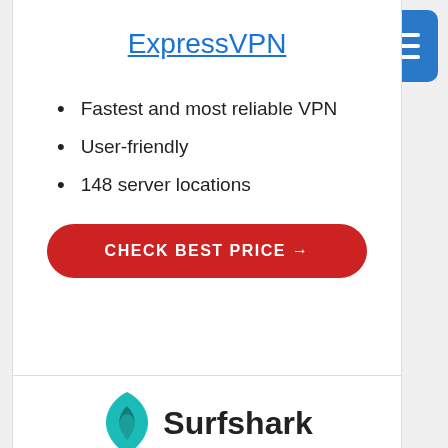ExpressVPN
Fastest and most reliable VPN
User-friendly
148 server locations
CHECK BEST PRICE →
[Figure (logo): Surfshark logo — teal shark fin icon with Surfshark text in bold dark]
Surfshark
Good speeds